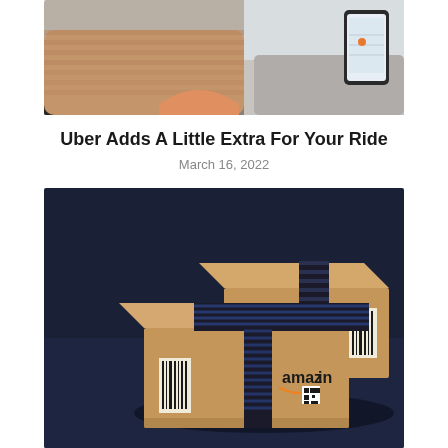[Figure (photo): Close-up photo of a person's arm in a tan/brown sweater resting on a car steering wheel, with a smartphone mounted on the dashboard visible in the background.]
Uber Adds A Little Extra For Your Ride
March 16, 2022
[Figure (photo): Two Amazon shipping boxes with black and blue striped tape on a dark navy/dark blue surface background. The front box shows the Amazon logo and a QR code sticker.]